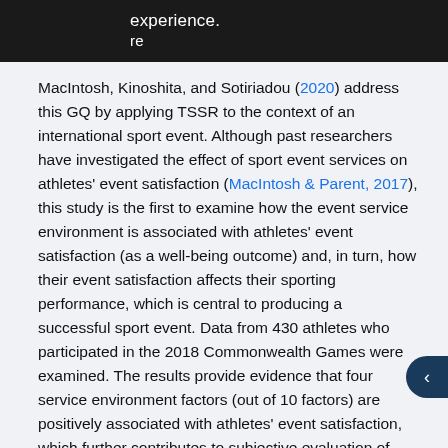experience. re
MacIntosh, Kinoshita, and Sotiriadou (2020) address this GQ by applying TSSR to the context of an international sport event. Although past researchers have investigated the effect of sport event services on athletes' event satisfaction (MacIntosh & Parent, 2017), this study is the first to examine how the event service environment is associated with athletes' event satisfaction (as a well-being outcome) and, in turn, how their event satisfaction affects their sporting performance, which is central to producing a successful sport event. Data from 430 athletes who participated in the 2018 Commonwealth Games were examined. The results provide evidence that four service environment factors (out of 10 factors) are positively associated with athletes' event satisfaction, which further contributes to subjective evaluation of